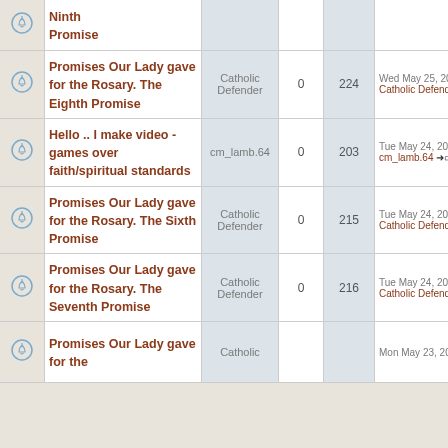|  | Topic | Author | Replies | Views | Last post |
| --- | --- | --- | --- | --- | --- |
|  | Ninth Promise |  |  |  |  |
|  | Promises Our Lady gave for the Rosary. The Eighth Promise | Catholic Defender | 0 | 224 | Wed May 25, 2022 1:21 p Catholic Defender |
|  | Hello .. I make video - games over faith/spiritual standards | cm_lamb.64 | 0 | 203 | Tue May 24, 2022 9:54 p cm_lamb.64 |
|  | Promises Our Lady gave for the Rosary. The Sixth Promise | Catholic Defender | 0 | 215 | Tue May 24, 2022 6:02 a Catholic Defender |
|  | Promises Our Lady gave for the Rosary. The Seventh Promise | Catholic Defender | 0 | 216 | Tue May 24, 2022 5:57 a Catholic Defender |
|  | Promises Our Lady gave for the | Catholic |  |  | Mon May 23, 2022 8:1 |